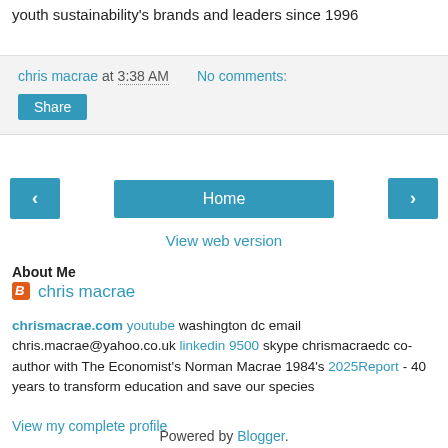youth sustainability's brands and leaders since 1996
chris macrae at 3:38 AM   No comments:
Share
[Figure (other): Navigation bar with back arrow, Home button, and forward arrow]
View web version
About Me
chris macrae
chrismacrae.com youtube washington dc email chris.macrae@yahoo.co.uk linkedin 9500 skype chrismacraedc co-author with The Economist's Norman Macrae 1984's 2025Report - 40 years to transform education and save our species
View my complete profile
Powered by Blogger.